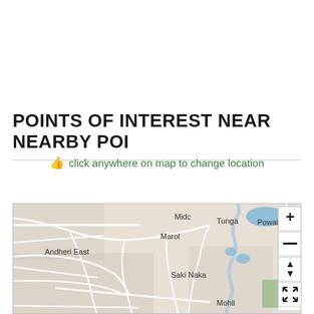POINTS OF INTEREST NEAR NEARBY POI
👍 click anywhere on map to change location
[Figure (map): Street map showing area around Andheri East, Mumbai including neighborhoods: Midc, Marol, Tunga, Powai, Andheri East, Saki Naka, Mohli with zoom and navigation controls on the right side.]